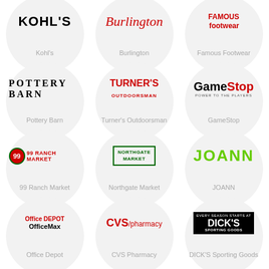[Figure (logo): Kohl's retail store logo]
Kohl's
[Figure (logo): Burlington retail store logo]
Burlington
[Figure (logo): Famous Footwear retail store logo]
Famous Footwear
[Figure (logo): Pottery Barn retail store logo]
Pottery Barn
[Figure (logo): Turner's Outdoorsman retail store logo]
Turner's Outdoorsman
[Figure (logo): GameStop retail store logo]
GameStop
[Figure (logo): 99 Ranch Market retail store logo]
99 Ranch Market
[Figure (logo): Northgate Market retail store logo]
Northgate Market
[Figure (logo): JOANN retail store logo]
JOANN
[Figure (logo): Office Depot OfficeMax retail store logo]
Office Depot
[Figure (logo): CVS pharmacy retail store logo]
CVS Pharmacy
[Figure (logo): DICK'S Sporting Goods retail store logo]
DICK'S Sporting Goods